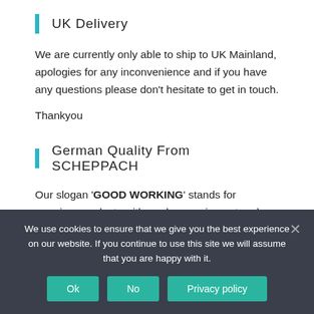UK Delivery
We are currently only able to ship to UK Mainland, apologies for any inconvenience and if you have any questions please don't hesitate to get in touch.
Thankyou
German Quality From SCHEPPACH
Our slogan 'GOOD WORKING' stands for premium products with modern equipment and high functionality to guarantee the best working results. 'GOOD WORKING' also means excellent service and
We use cookies to ensure that we give you the best experience on our website. If you continue to use this site we will assume that you are happy with it.
Ok  No  Privacy policy